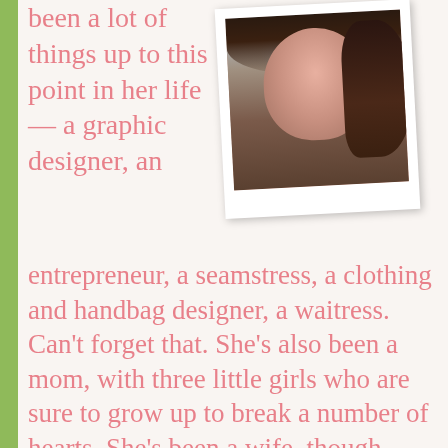been a lot of things up to this point in her life — a graphic designer, an
[Figure (photo): A polaroid-style photo of a young woman with dark hair and red lipstick, slightly tilted]
entrepreneur, a seamstress, a clothing and handbag designer, a waitress. Can't forget that. She's also been a mom, with three little girls who are sure to grow up to break a number of hearts. She's been a wife, though she's certainly not the cleanest, or the best cook.